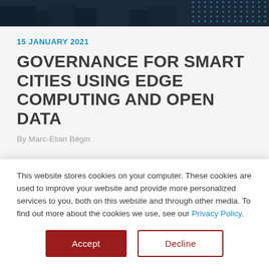[Figure (photo): Hero banner image showing a smart city/urban scene with dark overlay and dot-pattern graphic element on the right side.]
15 JANUARY 2021
GOVERNANCE FOR SMART CITIES USING EDGE COMPUTING AND OPEN DATA
By Marc-Elian Bégin
This website stores cookies on your computer. These cookies are used to improve your website and provide more personalized services to you, both on this website and through other media. To find out more about the cookies we use, see our Privacy Policy.
Accept
Decline